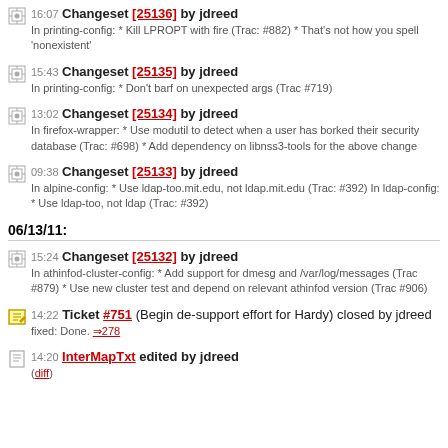16:07 Changeset [25136] by jdreed
In printing-config: * Kill LPROPT with fire (Trac: #882) * That's not how you spell 'nonexistent'
15:43 Changeset [25135] by jdreed
In printing-config: * Don't barf on unexpected args (Trac #719)
13:02 Changeset [25134] by jdreed
In firefox-wrapper: * Use modutil to detect when a user has borked their security database (Trac: #698) * Add dependency on libnss3-tools for the above change
09:38 Changeset [25133] by jdreed
In alpine-config: * Use ldap-too.mit.edu, not ldap.mit.edu (Trac: #392) In ldap-config: * Use ldap-too, not ldap (Trac: #392)
06/13/11:
15:24 Changeset [25132] by jdreed
In athinfod-cluster-config: * Add support for dmesg and /var/log/messages (Trac #879) * Use new cluster test and depend on relevant athinfod version (Trac #906)
14:22 Ticket #751 (Begin de-support effort for Hardy) closed by jdreed
fixed: Done. →278
14:20 InterMapTxt edited by jdreed
(diff)